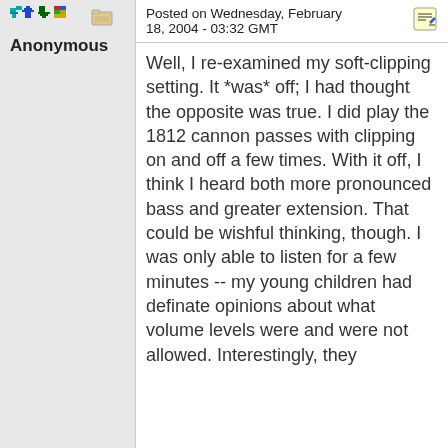[Figure (other): Small pixel-art icons: arrows and a folder/box icon]
[Figure (other): Edit/pencil icon in top right of post header]
Posted on Wednesday, February 18, 2004 - 03:32 GMT
Anonymous
Well, I re-examined my soft-clipping setting. It *was* off; I had thought the opposite was true. I did play the 1812 cannon passes with clipping on and off a few times. With it off, I think I heard both more pronounced bass and greater extension. That could be wishful thinking, though. I was only able to listen for a few minutes -- my young children had definate opinions about what volume levels were and were not allowed. Interestingly, they